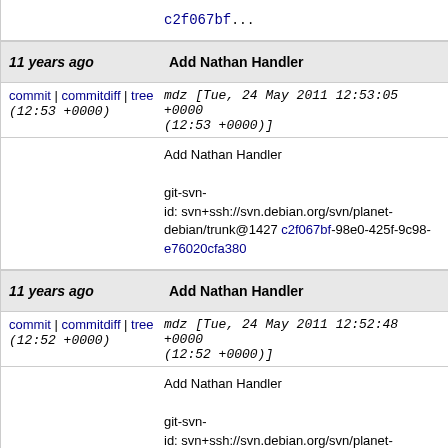c2f067bf... (partial link at top)
11 years ago | Add Nathan Handler
commit | commitdiff | tree (12:53 +0000)  mdz [Tue, 24 May 2011 12:53:05 +0000 (12:53 +0000)]
Add Nathan Handler

git-svn-id: svn+ssh://svn.debian.org/svn/planet-debian/trunk@1427 c2f067bf-98e0-425f-9c98-e76020cfa380
11 years ago | Add Nathan Handler
commit | commitdiff | tree (12:52 +0000)  mdz [Tue, 24 May 2011 12:52:48 +0000 (12:52 +0000)]
Add Nathan Handler

git-svn-id: svn+ssh://svn.debian.org/svn/planet-debian/trunk@1426 c2f067bf-98e0-425f-9c98-e76020cfa380
11 years ago | comment out non-working blogs
commit | commitdiff | tree  joerg [Mon, 23 May 2011 21:59:25 +0000